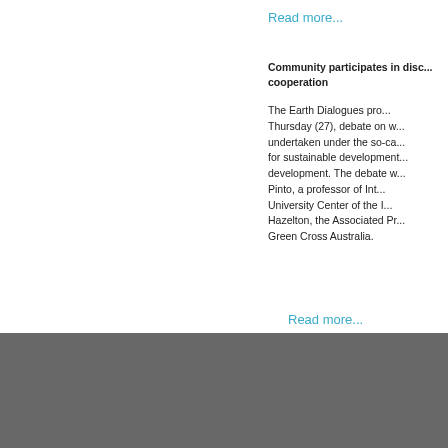Read more...
Community participates in disc... cooperation
The Earth Dialogues pro... Thursday (27), debate on w... undertaken under the so-ca... for sustainable development... development. The debate w... Pinto, a professor of Int... University Center of the I... Hazelton, the Associated Pr... Green Cross Australia.
Read more...